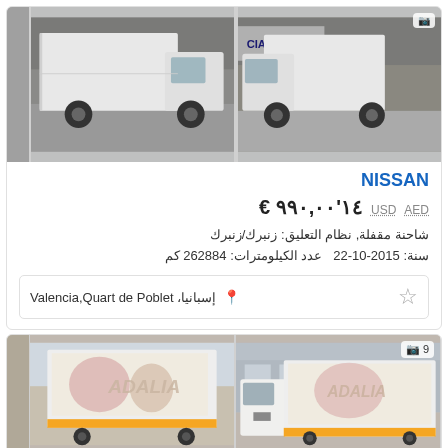[Figure (photo): Two photos of a white Nissan box truck (closed cargo van) inside a warehouse/showroom. Left image shows rear-side view, right image shows front-side view.]
NISSAN
€ ١٤'٩٩٠,٠٠   USD   AED
شاحنة مقفلة, نظام التعليق: زنبرك/زنبرك
سنة: 2015-10-22  عدد الكيلومترات: 262884 كم
إسبانيا، Valencia,Quart de Poblet
[Figure (photo): Two photos of a white Nissan box truck with food/bakery branding wrap on the cargo box. Left image shows rear view, right image shows front-side view. Camera icon with number 9 in top right.]